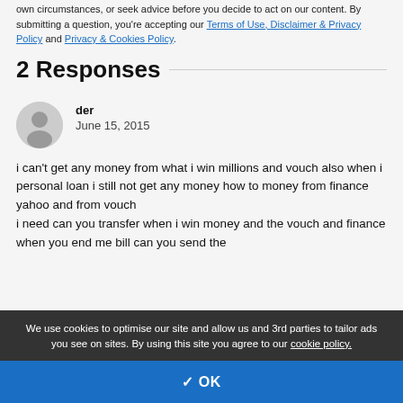own circumstances, or seek advice before you decide to act on our content. By submitting a question, you're accepting our Terms of Use, Disclaimer & Privacy Policy and Privacy & Cookies Policy.
2 Responses
der
June 15, 2015
i can't get any money from what i win millions and vouch also when i personal loan i still not get any money how to money from finance yahoo and from vouch
i need can you transfer when i win money and the vouch and finance when you end me bill can you send the
We use cookies to optimise our site and allow us and 3rd parties to tailor ads you see on sites. By using this site you agree to our cookie policy.